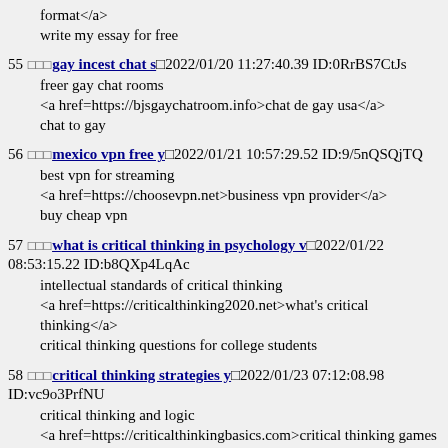format</a>
write my essay for free
55 □□□ gay incest chat s□ 2022/01/20 11:27:40.39 ID:0RrBS7CtJs
  freer gay chat rooms
  <a href=https://bjsgaychatroom.info>chat de gay usa</a>
  chat to gay
56 □□□ mexico vpn free y□ 2022/01/21 10:57:29.52 ID:9/5nQSQjTQ
  best vpn for streaming
  <a href=https://choosevpn.net>business vpn provider</a>
  buy cheap vpn
57 □□□ what is critical thinking in psychology v□ 2022/01/22 08:53:15.22 ID:b8QXp4LqAc
  intellectual standards of critical thinking
  <a href=https://criticalthinking2020.net>what's critical thinking</a>
  critical thinking questions for college students
58 □□□ critical thinking strategies y□ 2022/01/23 07:12:08.98 ID:vc9o3PrfNU
  critical thinking and logic
  <a href=https://criticalthinkingbasics.com>critical thinking games for kids</a>
  quotes about critical thinking